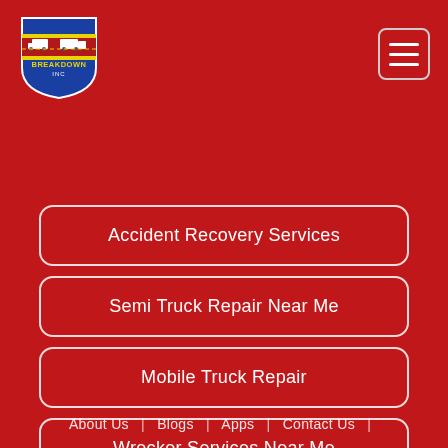[Figure (logo): Breakdown Inc shield logo with trucks and yellow/blue/red design]
[Figure (other): Hamburger menu icon button (three horizontal white lines in a rounded square border)]
Accident Recovery Services
Semi Truck Repair Near Me
Mobile Truck Repair
Wrecker Services Near Me
Heavy Duty Truck Repair
About Us | Blogs | Apps | Contact Us |